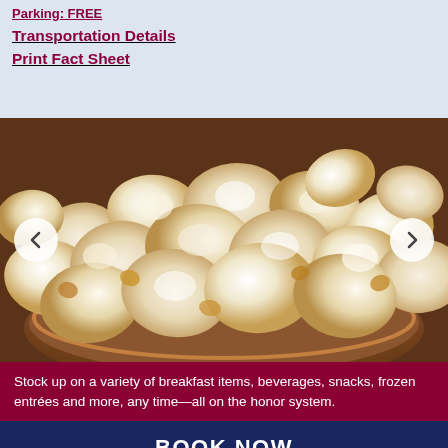Transportation Details
Print Fact Sheet
[Figure (photo): Close-up photo of popcorn in a wooden bowl with carousel navigation arrows on left and right sides]
Stock up on a variety of breakfast items, beverages, snacks, frozen entrées and more, any time—all on the honor system.
BOOK NOW